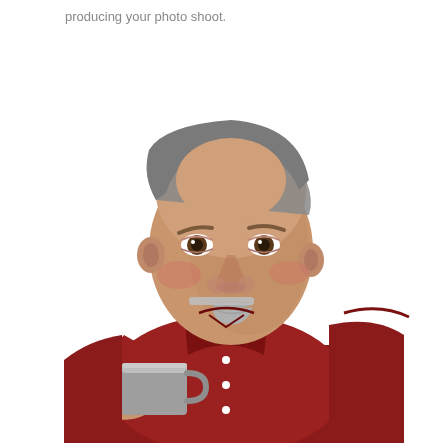producing your photo shoot.
[Figure (photo): A middle-aged heavyset man with graying hair and a goatee, wearing a red short-sleeve button-up shirt, holding a gray coffee mug up to his lips and looking sideways at the camera. White background.]